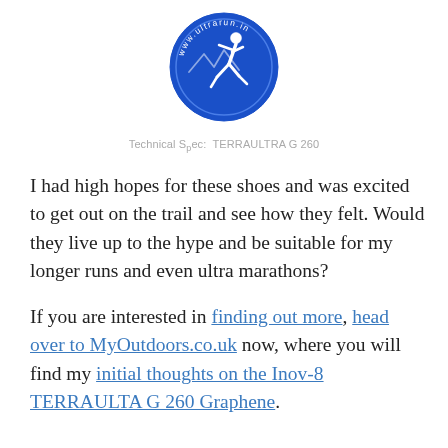[Figure (logo): Circular blue logo with a running figure and text 'www.ultrarun.in']
Technical Spec: TERRAULTRA G 260
I had high hopes for these shoes and was excited to get out on the trail and see how they felt. Would they live up to the hype and be suitable for my longer runs and even ultra marathons?
If you are interested in finding out more, head over to MyOutdoors.co.uk now, where you will find my initial thoughts on the Inov-8 TERRAULTA G 260 Graphene.